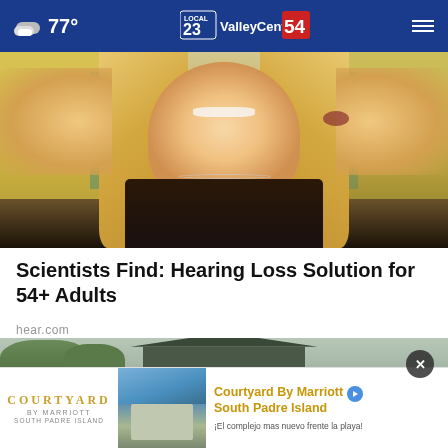77° ValleyCentral.com Local 23/54
[Figure (photo): Woman with blonde hair smiling with hands raised, wearing dark top and necklace, standing in front of colorful background]
Scientists Find: Hearing Loss Solution for 54+ Adults
hear.com
[Figure (photo): Aerial view of a house roof with shingles and surrounding trees]
[Figure (photo): Courtyard by Marriott South Padre Island advertisement banner with hotel image. Text: Courtyard By Marriott South Padre Island. ¡El complejo mas nuevo frente la playa!]